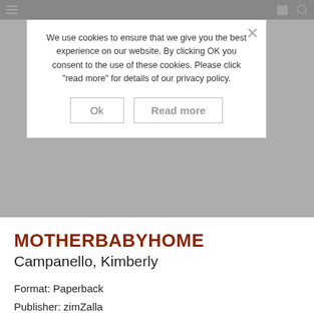[Figure (screenshot): Cookie consent overlay popup on a bookseller website, with 'Ok' and 'Read more' buttons, and a close X. Background shows a dark nav bar with hamburger menu, shopping bag icon, and search icon.]
MOTHERBABYHOME
Campanello, Kimberly
Format: Paperback
Publisher: zimZalla
Published: April 19, 2019
ISBN: 9781907570179
802 pages
Country of publication: United Kingdom